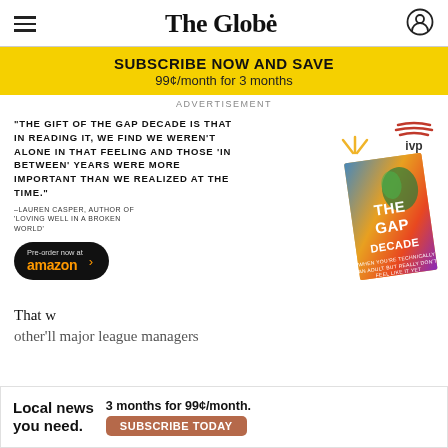The Globe
SUBSCRIBE NOW AND SAVE
99¢/month for 3 months
ADVERTISEMENT
[Figure (illustration): Book advertisement for 'The Gap Decade' by Katie Schnack with IVP logo, a quote from Lauren Casper, and an Amazon pre-order button. The book cover shows a colorful illustrated design.]
That w
other'll major league managers
Local news you need.
3 months for 99¢/month.
SUBSCRIBE TODAY